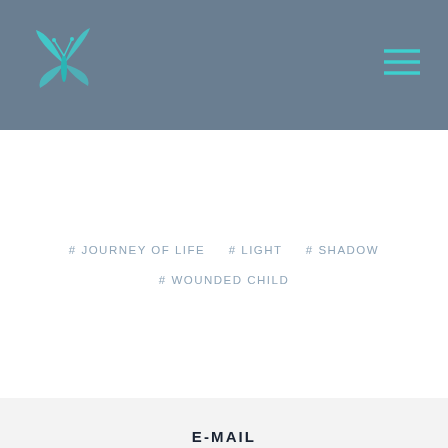[Figure (logo): Teal butterfly logo in the top-left of header bar]
[Figure (other): Hamburger menu icon (three horizontal lines) in top-right of header bar]
# JOURNEY OF LIFE   # LIGHT   # SHADOW   # WOUNDED CHILD
E-MAIL  FACEBOOK  TWITTER  GOOGLE +